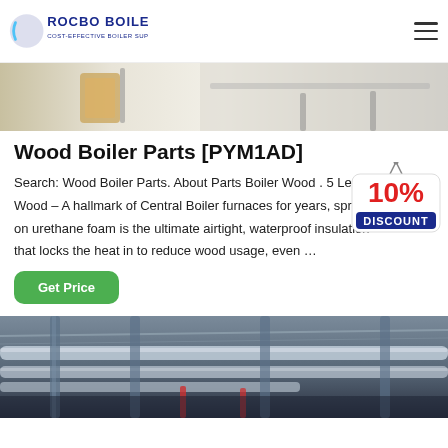ROCBO BOILER — COST-EFFECTIVE BOILER SUPPLIER
[Figure (photo): Top portion of a boiler installation image showing yellow equipment and white surfaces]
Wood Boiler Parts [PYM1AD]
[Figure (illustration): 10% DISCOUNT badge/sticker graphic]
Search: Wood Boiler Parts. About Parts Boiler Wood . 5 Less Wood – A hallmark of Central Boiler furnaces for years, spray-on urethane foam is the ultimate airtight, waterproof insulation that locks the heat in to reduce wood usage, even …
[Figure (photo): Industrial boiler room interior showing pipes and ductwork on ceiling]